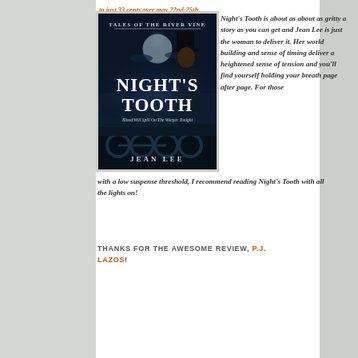to just 33 cents over may 22nd-25th
[Figure (illustration): Book cover for Night's Tooth by Jean Lee. Dark blue atmospheric cover showing a figure in a top hat against a full moon, with a steam locomotive below. Text reads: Tales of the River Vine / NIGHT'S TOOTH / Blood Will Spill On The Weeper Tonight / JEAN LEE]
Night's Tooth is about as about as gritty a story as you can get and Jean Lee is just the woman to deliver it. Her world building and sense of timing deliver a heightened sense of tension and you'll find yourself holding your breath page after page. For those with a low suspense threshold, I recommend reading Night's Tooth with all the lights on!
THANKS FOR THE AWESOME REVIEW, P.J. LAZOS!